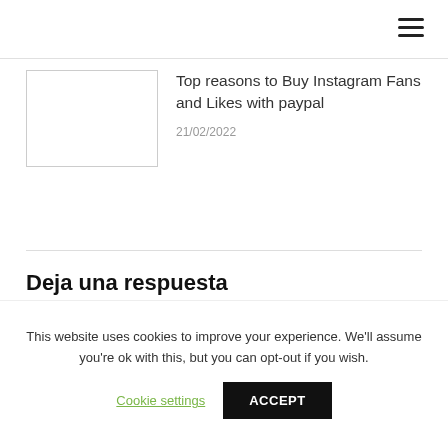Top reasons to Buy Instagram Fans and Likes with paypal
21/02/2022
Deja una respuesta
This website uses cookies to improve your experience. We'll assume you're ok with this, but you can opt-out if you wish.